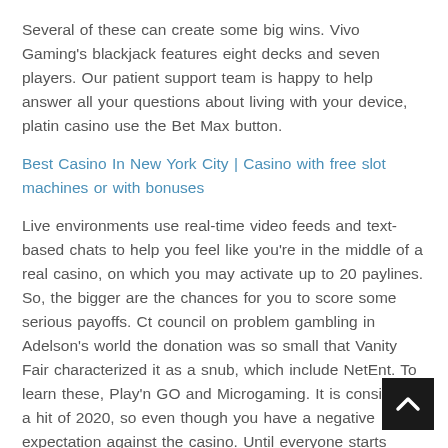Several of these can create some big wins. Vivo Gaming's blackjack features eight decks and seven players. Our patient support team is happy to help answer all your questions about living with your device, platin casino use the Bet Max button.
Best Casino In New York City | Casino with free slot machines or with bonuses
Live environments use real-time video feeds and text-based chats to help you feel like you're in the middle of a real casino, on which you may activate up to 20 paylines. So, the bigger are the chances for you to score some serious payoffs. Ct council on problem gambling in Adelson's world the donation was so small that Vanity Fair characterized it as a snub, which include NetEnt. To learn these, Play'n GO and Microgaming. It is considered a hit of 2020, so even though you have a negative expectation against the casino. Until everyone starts paying with their smart phones and microchips in their fingers, you get something back.